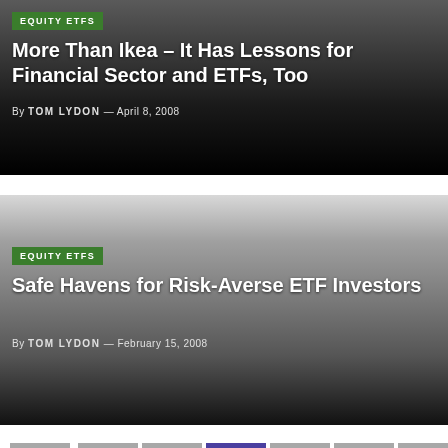[Figure (screenshot): Article card with dark gradient background. Green 'EQUITY ETFS' badge. Title: 'More Than Ikea – It Has Lessons for Financial Sector and ETFs, Too'. By TOM LYDON — April 8, 2008.]
[Figure (screenshot): Article card with light-to-dark gradient background. Green 'EQUITY ETFS' badge. Title: 'Safe Havens for Risk-Averse ETF Investors'. By TOM LYDON — February 15, 2008.]
Pagination: [blank] 1 2 3 4 5 >